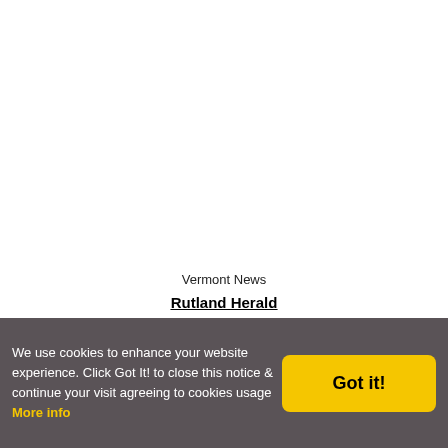Vermont News
Rutland Herald
NY Times: Vermont
Vermont Travel
WikiTravel: Vermont
Vermont.gov: Travel
We use cookies to enhance your website experience. Click Got It! to close this notice & continue your visit agreeing to cookies usage More info
Got it!